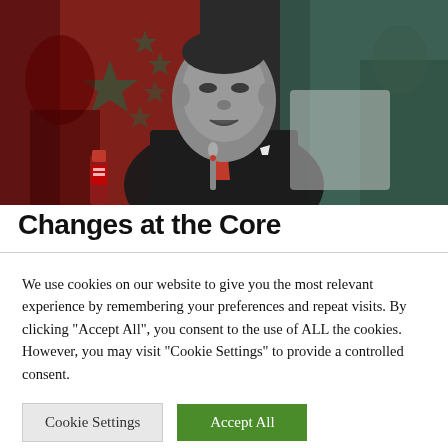[Figure (photo): Photo of a man in a dark suit with a red tie speaking at what appears to be an official meeting. A Chinese flag with red background and gold stars is visible. The image has a grainy, dark editorial style.]
Changes at the Core
We use cookies on our website to give you the most relevant experience by remembering your preferences and repeat visits. By clicking "Accept All", you consent to the use of ALL the cookies. However, you may visit "Cookie Settings" to provide a controlled consent.
Cookie Settings
Accept All